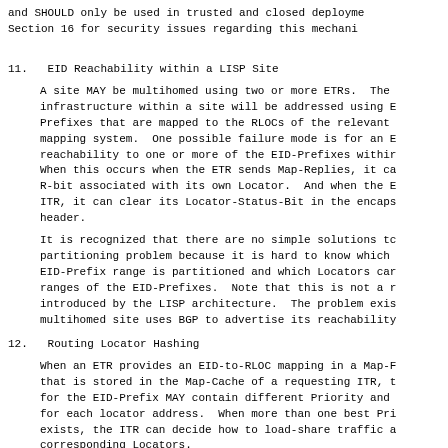and SHOULD only be used in trusted and closed deployments. See Section 16 for security issues regarding this mechanism.
11.   EID Reachability within a LISP Site
A site MAY be multihomed using two or more ETRs.  The infrastructure within a site will be addressed using EID-Prefixes that are mapped to the RLOCs of the relevant mapping system.  One possible failure mode is for an ETR to lose reachability to one or more of the EID-Prefixes within. When this occurs when the ETR sends Map-Replies, it can clear R-bit associated with its own Locator.  And when the ETR is an ITR, it can clear its Locator-Status-Bit in the encapsulating header.
It is recognized that there are no simple solutions to the partitioning problem because it is hard to know which EID-Prefix range is partitioned and which Locators can reach ranges of the EID-Prefixes.  Note that this is not a new introduced by the LISP architecture.  The problem exists when a multihomed site uses BGP to advertise its reachability.
12.   Routing Locator Hashing
When an ETR provides an EID-to-RLOC mapping in a Map-Reply that is stored in the Map-Cache of a requesting ITR, the entry for the EID-Prefix MAY contain different Priority and Weight for each locator address.  When more than one best Priority exists, the ITR can decide how to load-share traffic across the corresponding Locators.